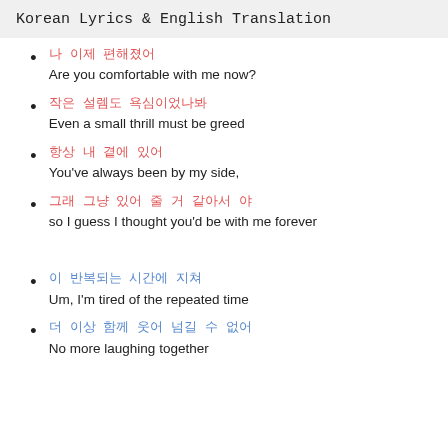Korean Lyrics & English Translation
나 이제 편해졌어
Are you comfortable with me now?
작은 설렘도 욕심이었나봐
Even a small thrill must be greed
항상 내 곁에 있어
You've always been by my side,
그래 그냥 있어 줄 거 같아서 야
so I guess I thought you'd be with me forever
이 반복되는 시간에 지쳐
Um, I'm tired of the repeated time
더 이상 함께 웃어 넘길 수 없어
No more laughing together